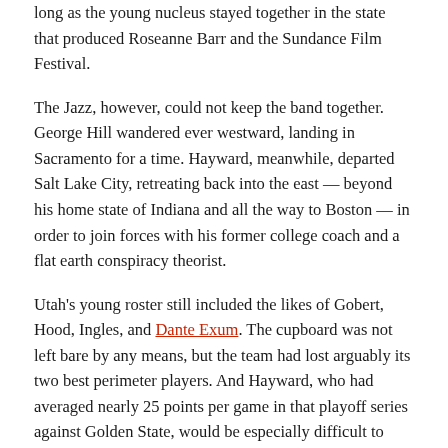long as the young nucleus stayed together in the state that produced Roseanne Barr and the Sundance Film Festival.
The Jazz, however, could not keep the band together. George Hill wandered ever westward, landing in Sacramento for a time. Hayward, meanwhile, departed Salt Lake City, retreating back into the east — beyond his home state of Indiana and all the way to Boston — in order to join forces with his former college coach and a flat earth conspiracy theorist.
Utah's young roster still included the likes of Gobert, Hood, Ingles, and Dante Exum. The cupboard was not left bare by any means, but the team had lost arguably its two best perimeter players. And Hayward, who had averaged nearly 25 points per game in that playoff series against Golden State, would be especially difficult to replace. (Hill